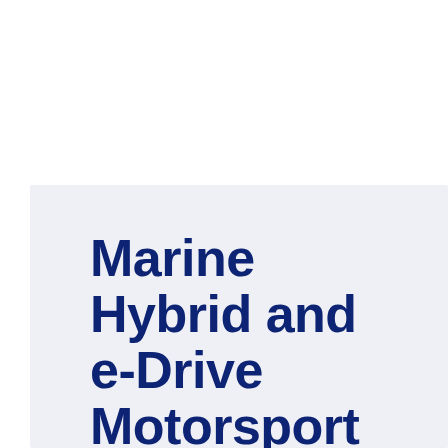Marine Hybrid and e-Drive Motorsport